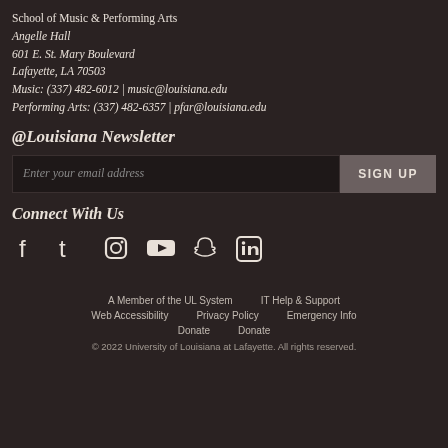School of Music & Performing Arts
Angelle Hall
601 E. St. Mary Boulevard
Lafayette, LA 70503
Music: (337) 482-6012 | music@louisiana.edu
Performing Arts: (337) 482-6357 | pfar@louisiana.edu
@Louisiana Newsletter
Enter your email address [SIGN UP button]
Connect With Us
[Figure (other): Social media icons: Facebook, Twitter, Instagram, YouTube, Snapchat, LinkedIn]
A Member of the UL System   IT Help & Support
Web Accessibility   Privacy Policy   Emergency Info
Donate   Donate
© 2022 University of Louisiana at Lafayette. All rights reserved.